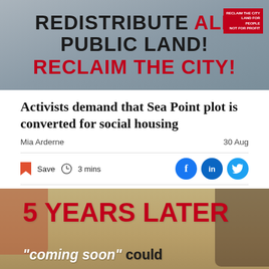[Figure (photo): Protest banner reading 'REDISTRIBUTE ALL PUBLIC LAND! RECLAIM THE CITY!' with a red badge in top-right corner reading 'RECLAIM THE CITY LAND FOR PEOPLE NOT FOR PROFIT']
Activists demand that Sea Point plot is converted for social housing
Mia Arderne
30 Aug
Save   3 mins
[Figure (photo): Protesters holding a large cardboard sign reading '5 YEARS LATER "coming soon" could come TOO many' with partially visible last word cut off at bottom]